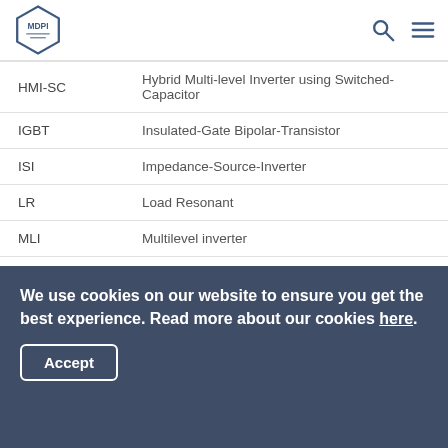MDPI
| Abbreviation | Definition |
| --- | --- |
| HMI-SC | Hybrid Multi-level Inverter using Switched-Capacitor |
| IGBT | Insulated-Gate Bipolar-Transistor |
| ISI | Impedance-Source-Inverter |
| LR | Load Resonant |
| MLI | Multilevel inverter |
| MLIs | Multi-Level Inverters |
| NPC | Neutral Point Clamped |
| P | Parallel |
We use cookies on our website to ensure you get the best experience. Read more about our cookies here.